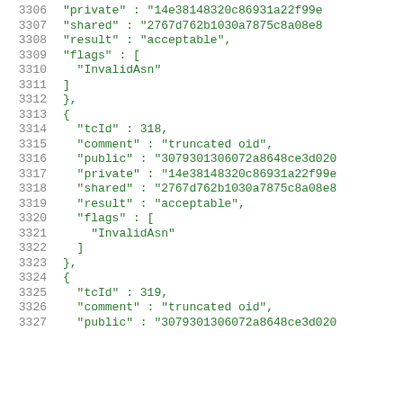3306    "private" : "14e38148320c86931a22f99e
3307    "shared" : "2767d762b1030a7875c8a08e8
3308    "result" : "acceptable",
3309    "flags" : [
3310      "InvalidAsn"
3311    ]
3312  },
3313  {
3314    "tcId" : 318,
3315    "comment" : "truncated oid",
3316    "public" : "3079301306072a8648ce3d020
3317    "private" : "14e38148320c86931a22f99e
3318    "shared" : "2767d762b1030a7875c8a08e8
3319    "result" : "acceptable",
3320    "flags" : [
3321      "InvalidAsn"
3322    ]
3323  },
3324  {
3325    "tcId" : 319,
3326    "comment" : "truncated oid",
3327    "public" : "3079301306072a8648ce3d020